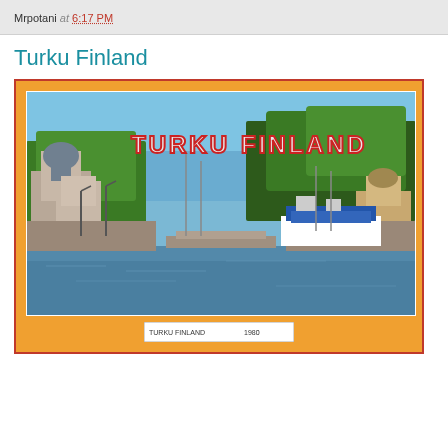Mrpotani at 6:17 PM
Turku Finland
[Figure (photo): A postcard image of Turku, Finland showing a river/canal with boats docked on the right, trees and buildings on both sides, and the text 'TURKU FINLAND' overlaid at the top of the photo. Below is a partial view of another postcard.]